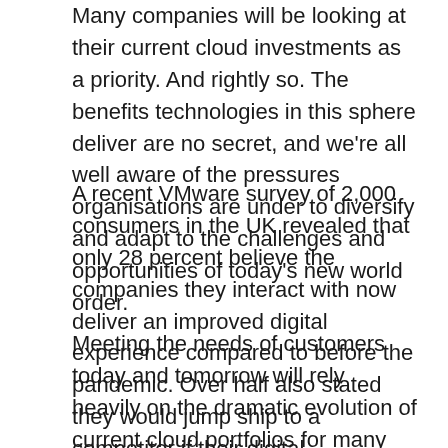Many companies will be looking at their current cloud investments as a priority. And rightly so. The benefits technologies in this sphere deliver are no secret, and we're all well aware of the pressures organisations are under to diversify and adapt to the challenges and opportunities of today's new world order.
A recent VMware survey of 2,000 consumers in the UK revealed that only 28 percent believe the companies they interact with now deliver an improved digital experience compared to before the pandemic. Over half also stated they would jump ship to a competitor if their digital experience didn't live up to expectations.
Meeting the needs of customers today and tomorrow will rely heavily on the dramatic evolution of current cloud portfolios for many companies. You only need to look at digital-natives or start-ups who use blended cloud models to see how expertly they navigate challenges, using the innovations such a setup provides to compete and grow at pace. By next year, IDC predicts that the infrastructure